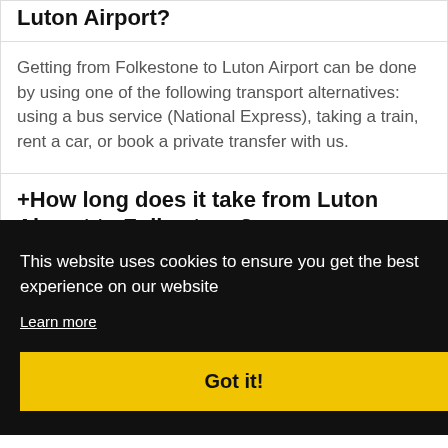Luton Airport?
Getting from Folkestone to Luton Airport can be done by using one of the following transport alternatives: using a bus service (National Express), taking a train, rent a car, or book a private transfer with us.
+How long does it take from Luton Airport to Folkestone?
This website uses cookies to ensure you get the best experience on our website
Learn more
Got it!
+How can I book a taxi from Luton Airport to Folkestone?